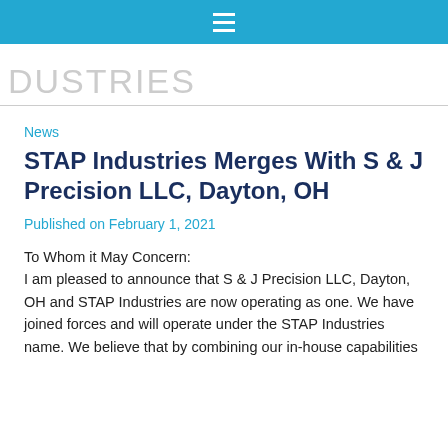☰
DUSTRIES
News
STAP Industries Merges With S & J Precision LLC, Dayton, OH
Published on February 1, 2021
To Whom it May Concern:
I am pleased to announce that S & J Precision LLC, Dayton, OH and STAP Industries are now operating as one. We have joined forces and will operate under the STAP Industries name. We believe that by combining our in-house capabilities